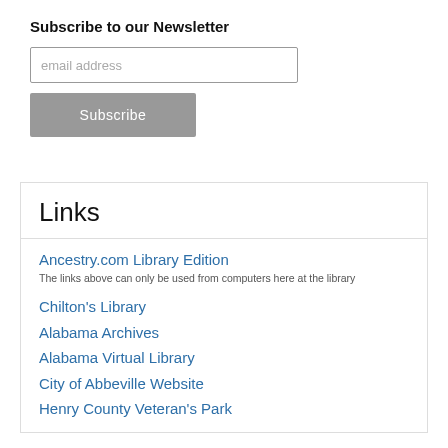Subscribe to our Newsletter
email address
Subscribe
Links
Ancestry.com Library Edition
The links above can only be used from computers here at the library
Chilton's Library
Alabama Archives
Alabama Virtual Library
City of Abbeville Website
Henry County Veteran's Park